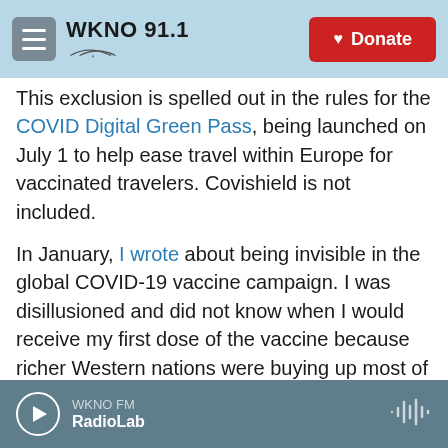WKNO 91.1 | Donate
This exclusion is spelled out in the rules for the COVID Digital Green Pass, being launched on July 1 to help ease travel within Europe for vaccinated travelers. Covishield is not included.
In January, I wrote about being invisible in the global COVID-19 vaccine campaign. I was disillusioned and did not know when I would receive my first dose of the vaccine because richer Western nations were buying up most of available vaccines. At the same period, only 25 doses of any COVID-19 vaccine had been administered across Africa with a population of more than 1.2 billion.
WKNO FM | RadioLab